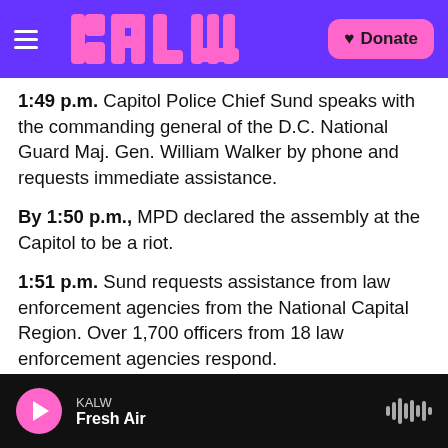KALW | Donate
1:49 p.m. Capitol Police Chief Sund speaks with the commanding general of the D.C. National Guard Maj. Gen. William Walker by phone and requests immediate assistance.
By 1:50 p.m., MPD declared the assembly at the Capitol to be a riot.
1:51 p.m. Sund requests assistance from law enforcement agencies from the National Capital Region. Over 1,700 officers from 18 law enforcement agencies respond.
KALW Fresh Air